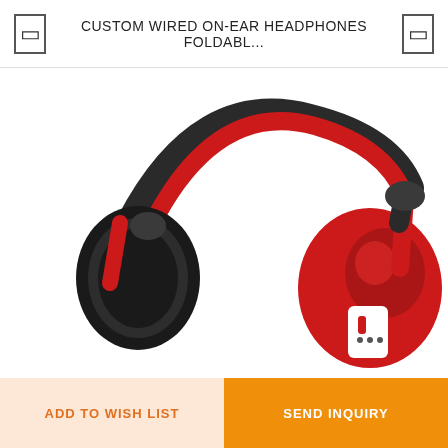CUSTOM WIRED ON-EAR HEADPHONES FOLDABL...
[Figure (photo): Red and black foldable on-ear wired headphones with a padded black headband, black ear cushions, and a red and white ear cup design, shown on a white background.]
ADD TO WISH LIST
SEND INQUIRY